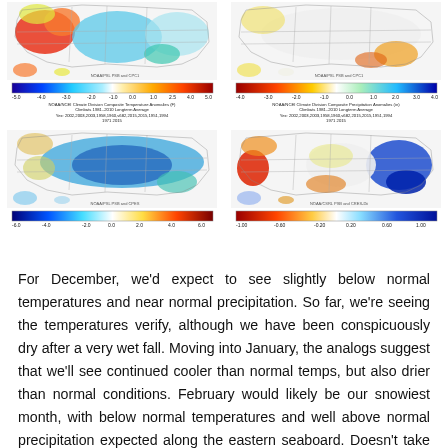[Figure (map): NOAA/NCEI Climate Division Composite Temperature Anomalies (F) top-left map showing warm anomalies in West/Southwest US (red/orange) and cool anomalies in the central/eastern US (blue/cyan), with a color bar ranging from -5.0 to 5.0]
[Figure (map): NOAA/NCEI Climate Division Composite Precipitation Anomalies (in) top-right map showing near-normal to slightly below-normal precipitation across most of the US, with some yellow/orange in the southeast, color bar ranging from -4.0 to 4.0]
[Figure (map): NOAA/NCEI Climate Division Composite Temperature Anomalies bottom-left map showing cool anomalies (blue) across much of the US, with a color bar ranging from -6.0 to 6.0]
[Figure (map): NOAA/NCEI Climate Division Composite Precipitation Anomalies bottom-right map showing wet anomalies in the eastern US and California (blue/dark blue) with dry anomalies in parts of central and southern US (orange/red), color bar ranging from -1.00 to 1.00]
For December, we'd expect to see slightly below normal temperatures and near normal precipitation. So far, we're seeing the temperatures verify, although we have been conspicuously dry after a very wet fall. Moving into January, the analogs suggest that we'll see continued cooler than normal temps, but also drier than normal conditions. February would likely be our snowiest month, with below normal temperatures and well above normal precipitation expected along the eastern seaboard. Doesn't take a